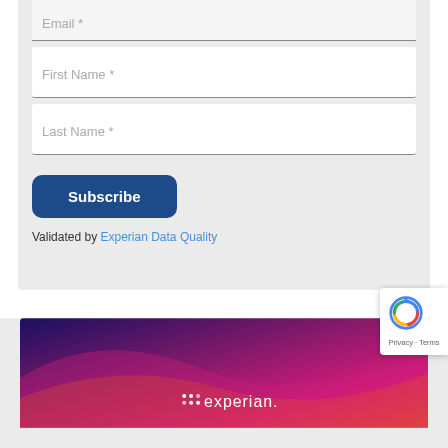Email *
First Name *
Last Name *
Subscribe
Validated by Experian Data Quality
[Figure (logo): Experian logo on gradient purple-pink background banner]
[Figure (other): reCAPTCHA badge with robot icon and Privacy - Terms text]